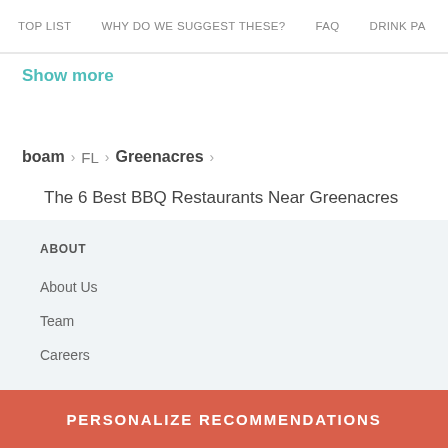TOP LIST   WHY DO WE SUGGEST THESE?   FAQ   DRINK PA
Show more
boam  >  FL  >  Greenacres  >
The 6 Best BBQ Restaurants Near Greenacres
ABOUT
About Us
Team
Careers
PERSONALIZE RECOMMENDATIONS